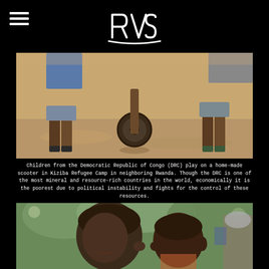RVS logo and hamburger menu
[Figure (photo): Children from DRC playing on a home-made scooter in Kiziba Refugee Camp, Rwanda - sandy ground, children's legs and wooden scooter visible]
Children from the Democratic Republic of Congo (DRC) play on a home-made scooter in Kiziba Refugee Camp in neighboring Rwanda. Though the DRC is one of the most mineral and resource-rich countries in the world, economically it is the poorest due to political instability and fights for the control of these resources.
[Figure (photo): Close-up of a woman and child touching noses/kissing in a refugee camp setting, with trees and people visible in background]